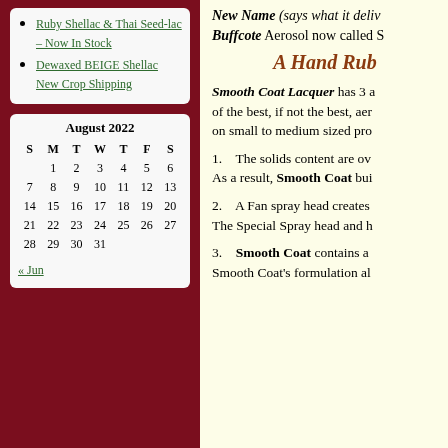Ruby Shellac & Thai Seed-lac – Now In Stock
Dewaxed BEIGE Shellac New Crop Shipping
| S | M | T | W | T | F | S |
| --- | --- | --- | --- | --- | --- | --- |
|  | 1 | 2 | 3 | 4 | 5 | 6 |
| 7 | 8 | 9 | 10 | 11 | 12 | 13 |
| 14 | 15 | 16 | 17 | 18 | 19 | 20 |
| 21 | 22 | 23 | 24 | 25 | 26 | 27 |
| 28 | 29 | 30 | 31 |  |  |  |
« Jun
New Name (says what it deliv... Buffcote Aerosol now called S...
A Hand Rub...
Smooth Coat Lacquer has 3 a... of the best, if not the best, aer... on small to medium sized pro...
1.    The solids content are ov... As a result, Smooth Coat bui...
2.    A Fan spray head creates... The Special Spray head and h...
3.    Smooth Coat contains a... Smooth Coat's formulation al...